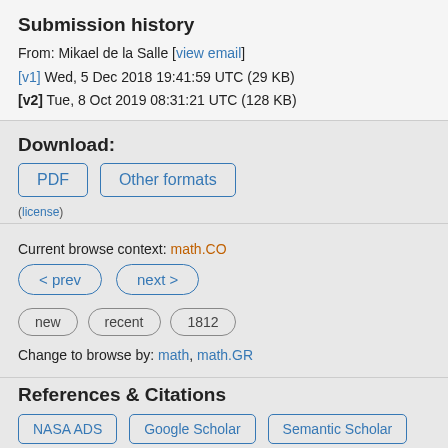Submission history
From: Mikael de la Salle [view email]
[v1] Wed, 5 Dec 2018 19:41:59 UTC (29 KB)
[v2] Tue, 8 Oct 2019 08:31:21 UTC (128 KB)
Download:
PDF  Other formats
(license)
Current browse context: math.CO
< prev   next >
new   recent   1812
Change to browse by: math, math.GR
References & Citations
NASA ADS   Google Scholar   Semantic Scholar
Export Bibtex Citation